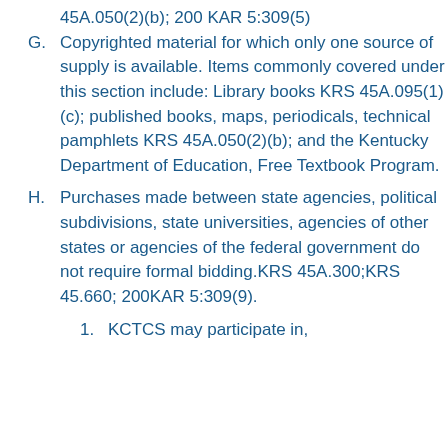45A.050(2)(b); 200 KAR 5:309(5)
G. Copyrighted material for which only one source of supply is available. Items commonly covered under this section include: Library books KRS 45A.095(1)(c); published books, maps, periodicals, technical pamphlets KRS 45A.050(2)(b); and the Kentucky Department of Education, Free Textbook Program.
H. Purchases made between state agencies, political subdivisions, state universities, agencies of other states or agencies of the federal government do not require formal bidding.KRS 45A.300;KRS 45.660; 200KAR 5:309(9).
1. KCTCS may participate in,